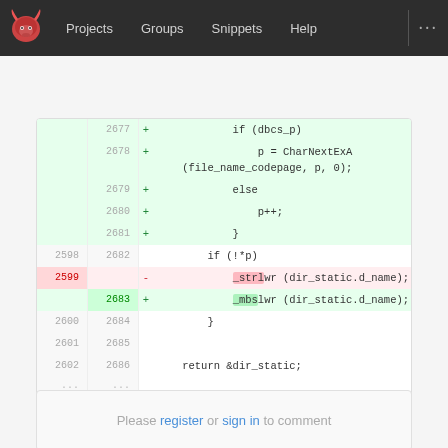Projects  Groups  Snippets  Help
[Figure (screenshot): GitLab diff view showing code changes. Added lines (green background, +): 2677-2681 adding if(dbcs_p) block with CharNextExA call. Context line 2682: if (!*p). Removed line 2599/- : _strlwr (dir_static.d_name); Added line 2683/+: _mbslwr (dir_static.d_name); Context lines 2684-2686: closing brace, blank, return &dir_static;]
Please register or sign in to comment